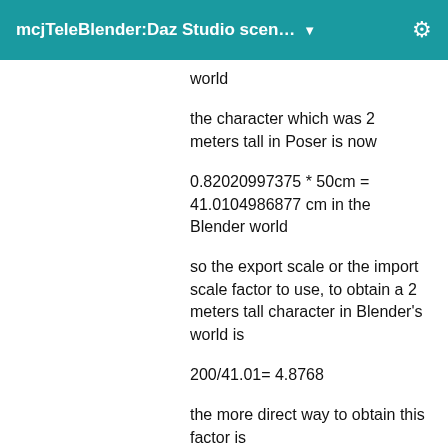mcjTeleBlender:Daz Studio scen... ▼
world
the character which was 2 meters tall in Poser is now
so the export scale or the import scale factor to use, to obtain a 2 meters tall character in Blender's world is
the more direct way to obtain this factor is